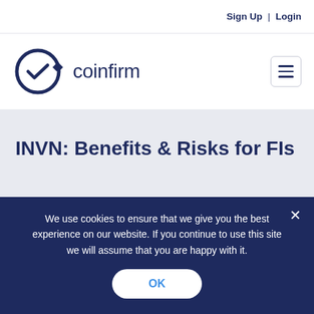Sign Up | Login
[Figure (logo): Coinfirm logo: circular C icon with checkmark and diamond shapes, followed by the text 'coinfirm' in dark navy]
INVN: Benefits & Risks for FIs
Running independent node verification networks is
We use cookies to ensure that we give you the best experience on our website. If you continue to use this site we will assume that you are happy with it.
OK